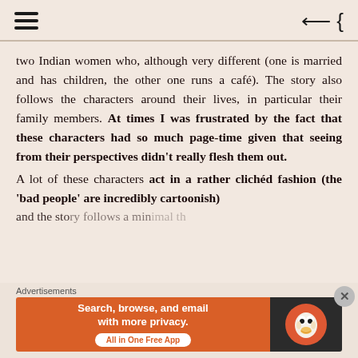Navigation header with hamburger menu and back button
two Indian women who, although very different (one is married and has children, the other one runs a café). The story also follows the characters around their lives, in particular their family members. At times I was frustrated by the fact that these characters had so much page-time given that seeing from their perspectives didn't really flesh them out.
A lot of these characters act in a rather clichéd fashion (the 'bad people' are incredibly cartoonish)
Advertisements
[Figure (screenshot): DuckDuckGo advertisement banner: 'Search, browse, and email with more privacy. All in One Free App' with DuckDuckGo duck logo on dark background]